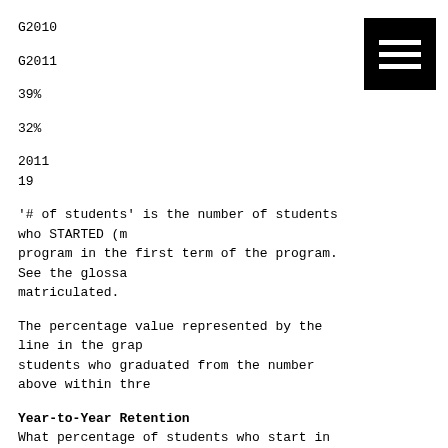G2010
G2011
39%
32%
2011
19
'# of students' is the number of students who STARTED (m program in the first term of the program. See the glossa matriculated.
The percentage value represented by the line in the grap students who graduated from the number above within thre
Year-to-Year Retention
What percentage of students who start in the first term following year?
For the years 2010-2014
IT Computer Support Spec
AAS
100%
95%
90%